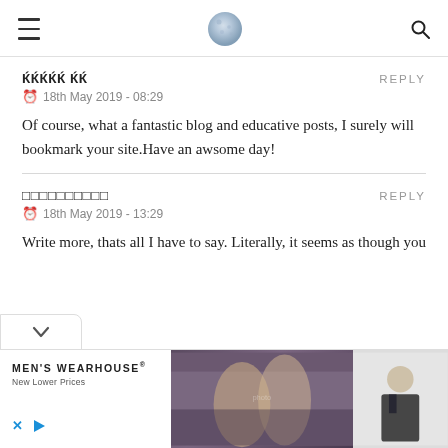[hamburger menu] [moon logo] [search icon]
𝔑𝔑𝔑𝔑𝔑 𝔑𝔑
18th May 2019 - 08:29
Of course, what a fantastic blog and educative posts, I surely will bookmark your site.Have an awsome day!
□□□□□□□□□□
18th May 2019 - 13:29
Write more, thats all I have to say. Literally, it seems as though you
[Figure (screenshot): MEN'S WEARHOUSE advertisement banner showing a couple in formal wear and a man in a suit, with 'New Lower Prices' tagline]